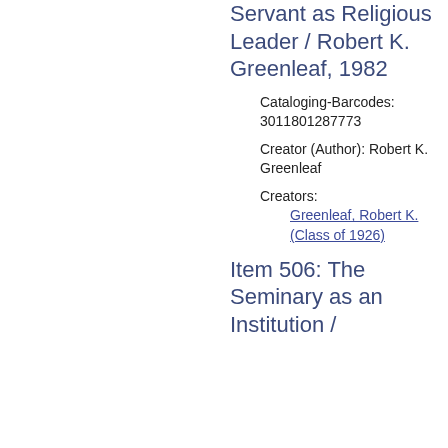Servant as Religious Leader / Robert K. Greenleaf, 1982
Cataloging-Barcodes: 3011801287773
Creator (Author): Robert K. Greenleaf
Creators:
Greenleaf, Robert K. (Class of 1926)
Item 506: The Seminary as an Institution /